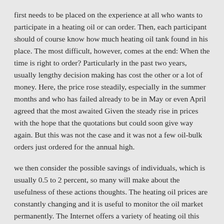first needs to be placed on the experience at all who wants to participate in a heating oil or can order. Then, each participant should of course know how much heating oil tank found in his place. The most difficult, however, comes at the end: When the time is right to order? Particularly in the past two years, usually lengthy decision making has cost the other or a lot of money. Here, the price rose steadily, especially in the summer months and who has failed already to be in May or even April agreed that the most awaited Given the steady rise in prices with the hope that the quotations but could soon give way again. But this was not the case and it was not a few oil-bulk orders just ordered for the annual high.
we then consider the possible savings of individuals, which is usually 0.5 to 2 percent, so many will make about the usefulness of these actions thoughts. The heating oil prices are constantly changing and it is useful to monitor the oil market permanently. The Internet offers a variety of heating oil this machine simple and convenient ways. With luck and skill, then the individual customer can be significantly cheaper than fuel oil ordered the community, not infrequently where the